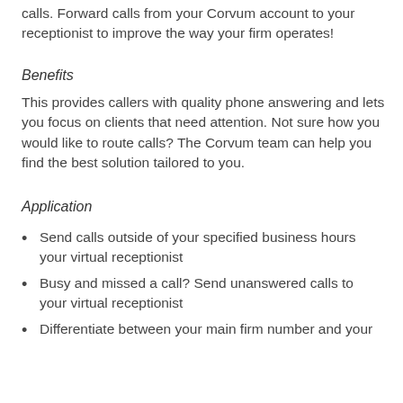calls. Forward calls from your Corvum account to your receptionist to improve the way your firm operates!
Benefits
This provides callers with quality phone answering and lets you focus on clients that need attention. Not sure how you would like to route calls? The Corvum team can help you find the best solution tailored to you.
Application
Send calls outside of your specified business hours your virtual receptionist
Busy and missed a call? Send unanswered calls to your virtual receptionist
Differentiate between your main firm number and your